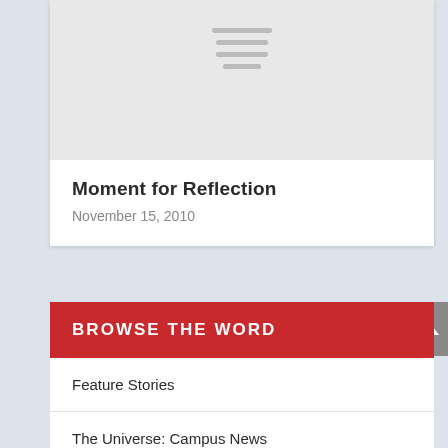[Figure (illustration): Placeholder image with hamburger menu lines on light gray background]
Moment for Reflection
November 15, 2010
BROWSE THE WORD
Feature Stories
The Universe: Campus News